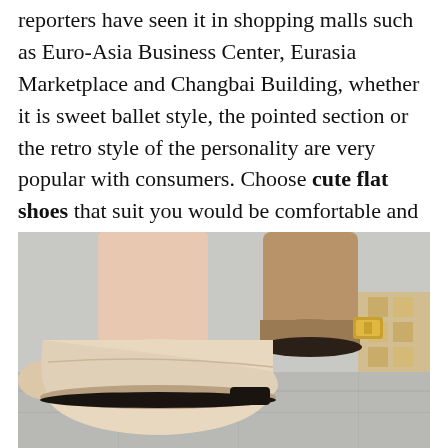reporters have seen it in shopping malls such as Euro-Asia Business Center, Eurasia Marketplace and Changbai Building, whether it is sweet ballet style, the pointed section or the retro style of the personality are very popular with consumers. Choose cute flat shoes that suit you would be comfortable and a goddess!
[Figure (photo): Close-up photo of a person's feet wearing beige/nude flat ballet shoes with a gold buckle decoration, standing on a light-colored floor. A second foot in a tan ankle boot is partially visible in the background.]